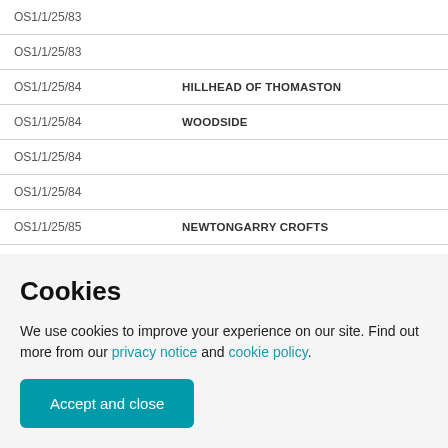| Reference | Name |
| --- | --- |
| OS1/1/25/83 |  |
| OS1/1/25/83 |  |
| OS1/1/25/84 | HILLHEAD OF THOMASTON |
| OS1/1/25/84 | WOODSIDE |
| OS1/1/25/84 |  |
| OS1/1/25/84 |  |
| OS1/1/25/85 | NEWTONGARRY CROFTS |
| OS1/1/25/85 | RACK MOSS |
| OS1/1/25/85 | GREENMIRE |
Cookies
We use cookies to improve your experience on our site. Find out more from our privacy notice and cookie policy.